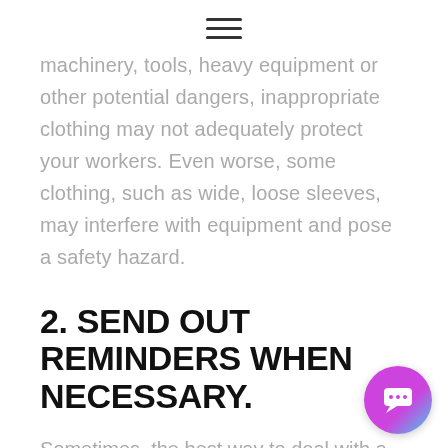≡
machinery, tools, heavy equipment or other potential dangers, inappropriate clothing may not adequately protect your workers. Even worse, some clothing, such as wide, loose sleeves, may interfere with equipment and pose a safety hazard.
2. SEND OUT REMINDERS WHEN NECESSARY.
Sometimes, the best way to deal with a